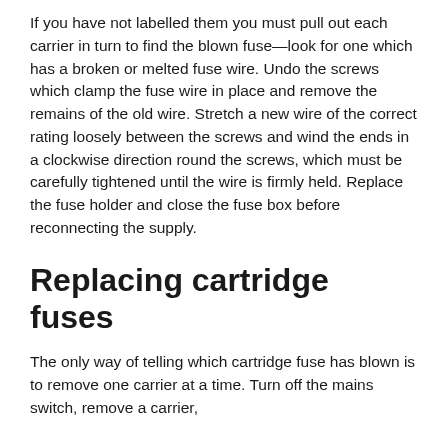If you have not labelled them you must pull out each carrier in turn to find the blown fuse—look for one which has a broken or melted fuse wire. Undo the screws which clamp the fuse wire in place and remove the remains of the old wire. Stretch a new wire of the correct rating loosely between the screws and wind the ends in a clockwise direction round the screws, which must be carefully tightened until the wire is firmly held. Replace the fuse holder and close the fuse box before reconnecting the supply.
Replacing cartridge fuses
The only way of telling which cartridge fuse has blown is to remove one carrier at a time. Turn off the mains switch, remove a carrier,